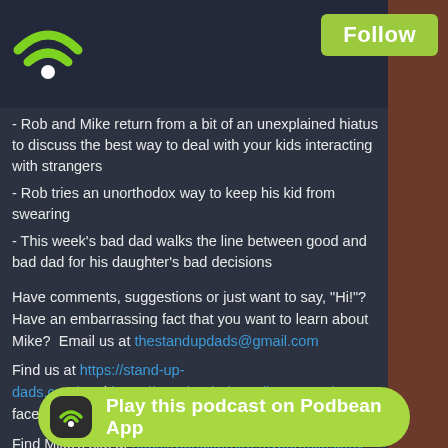[Figure (logo): Green WiFi/podcast signal icon with white dot at bottom on dark background]
Follow
- Rob and Mike return from a bit of an unexplained hiatus to discuss the best way to deal with your kids interacting with strangers
- Rob tries an unorthodox way to keep his kid from swearing
- This week's bad dad walks the line between good and bad dad for his daughter's bad decisions
Have comments, suggestions or just want to say, "Hi!"?  Have an embarrassing fact that you want to learn about Mike?  Email us at thestandupdads@gmail.com
Find us at https://stand-up-dads.com/ and https://standupdads.podbean.com/ or on facebook @standupdadspod
Find Mike's site at https://pencilforhire.myportfolio.com/
Find Mike's comic book, Clumsy Love here!
Find Big Nick's Gag on This Podcast at https://...podbean.ai
Find Doug... of
[Figure (other): Green pill-shaped Podbean app banner with dark icon showing wifi signal and text 'Play this podcast on Podbean App']